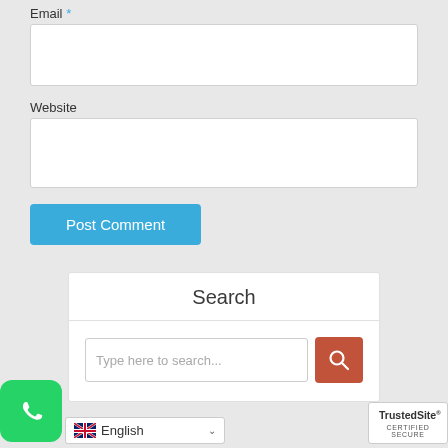Email *
[Figure (screenshot): Email input text field (empty)]
Website
[Figure (screenshot): Website input text field (empty)]
[Figure (screenshot): Post Comment button (blue)]
Search
[Figure (screenshot): Search input field with placeholder 'Type here to search...' and red search button]
[Figure (logo): WhatsApp icon - green circle with phone handset]
[Figure (logo): TrustedSite certified secure badge]
[Figure (screenshot): English language selector dropdown with UK flag]